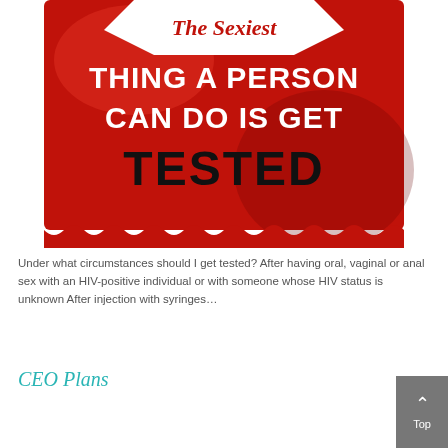[Figure (photo): A red condom packet with white and black text reading 'The Sexiest THING A PERSON CAN DO IS GET TESTED']
Under what circumstances should I get tested? After having oral, vaginal or anal sex with an HIV-positive individual or with someone whose HIV status is unknown After injection with syringes…
CEO Plans